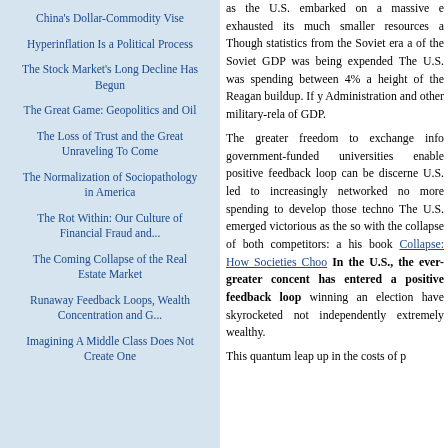China's Dollar-Commodity Vise
Hyperinflation Is a Political Process
The Stock Market's Long Decline Has Begun
The Great Game: Geopolitics and Oil
The Loss of Trust and the Great Unraveling To Come
The Normalization of Sociopathology in America
The Rot Within: Our Culture of Financial Fraud and...
The Coming Collapse of the Real Estate Market
Runaway Feedback Loops, Wealth Concentration and G...
Imagining A Middle Class Does Not Create One
as the U.S. embarked on a massive e exhausted its much smaller resources a Though statistics from the Soviet era a of the Soviet GDP was being expended The U.S. was spending between 4% a height of the Reagan buildup. If y Administration and other military-rela of GDP.

The greater freedom to exchange info government-funded universities enable positive feedback loop can be discerne U.S. led to increasingly networked no more spending to develop those techno The U.S. emerged victorious as the so with the collapse of both competitors: a his book Collapse: How Societies Choo In the U.S., the ever-greater concent has entered a positive feedback loop winning an election have skyrocketed not independently extremely wealthy. This quantum leap up in the costs of p